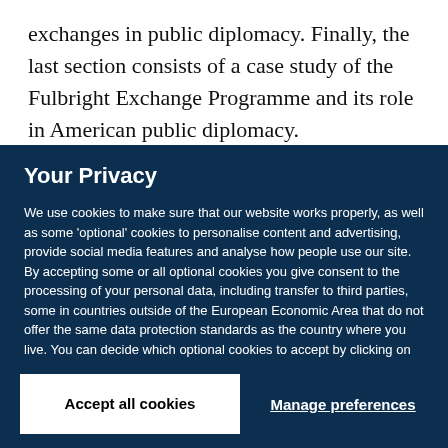exchanges in public diplomacy. Finally, the last section consists of a case study of the Fulbright Exchange Programme and its role in American public diplomacy.
Your Privacy
We use cookies to make sure that our website works properly, as well as some 'optional' cookies to personalise content and advertising, provide social media features and analyse how people use our site. By accepting some or all optional cookies you give consent to the processing of your personal data, including transfer to third parties, some in countries outside of the European Economic Area that do not offer the same data protection standards as the country where you live. You can decide which optional cookies to accept by clicking on 'Manage Settings', where you can also find more information about how your personal data is processed. Further information can be found in our privacy policy.
Accept all cookies
Manage preferences